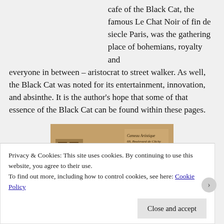cafe of the Black Cat, the famous Le Chat Noir of fin de siecle Paris, was the gathering place of bohemians, royalty and everyone in between – aristocrat to street walker. As well, the Black Cat was noted for its entertainment, innovation, and absinthe. It is the author's hope that some of that essence of the Black Cat can be found within these pages.
[Figure (photo): Sepia-toned photograph of a building facade with text reading 'Cameo Artistique, 68 Boulevard de Clichy, PARIS-MONTMARTRE']
Privacy & Cookies: This site uses cookies. By continuing to use this website, you agree to their use.
To find out more, including how to control cookies, see here: Cookie Policy
Close and accept